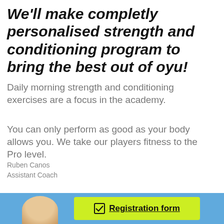We'll make completly personalised strength and conditioning program to bring the best out of oyu!
Daily morning strength and conditioning exercises are a focus in the academy.
You can only perform as good as your body allows you. We take our players fitness to the Pro level.
Ruben Canos
Assistant Coach
[Figure (other): Yellow/green registration form button with checkbox icon and underlined bold text 'Registration form', overlaid on a blue strip at the bottom of the page with a partial photo of a person's head.]